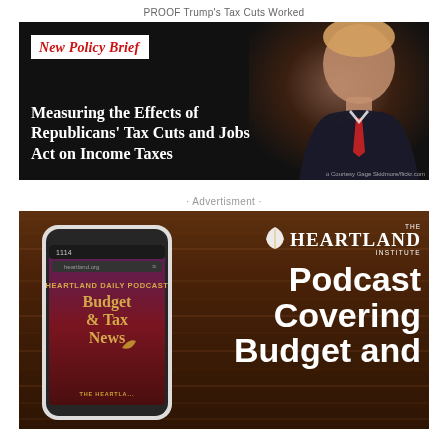PROOF Trump’s Tax Cuts Worked
[Figure (illustration): Black background banner ad with white text reading 'New Policy Brief' in red italic serif font on white tag, main title 'Measuring the Effects of Republicans’ Tax Cuts and Jobs Act on Income Taxes' in white bold serif font, with photo of a person on the right side against dark background. Photo credit: Courtesy Gage Skidmore/flickr.com]
· Advertisment ·
[Figure (illustration): Heartland Institute podcast advertisement on dark wood background. Left side shows smartphone with 'Heartland Daily Podcast - Budget & Tax News' podcast artwork in gold and dark red. Right side shows 'THE HEARTLAND INSTITUTE' logo with leaf icon, and large white bold text 'Podcast Covering Budget and' (text cut off at bottom).]